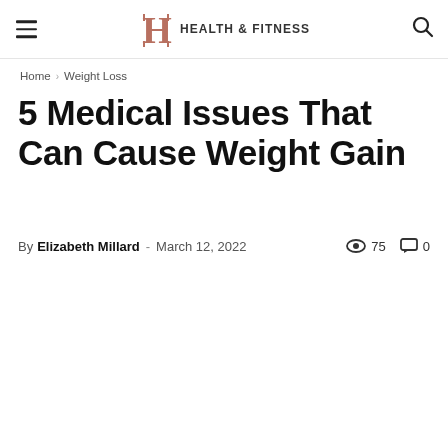HEALTH & FITNESS
Home › Weight Loss
5 Medical Issues That Can Cause Weight Gain
By Elizabeth Millard - March 12, 2022  75  0